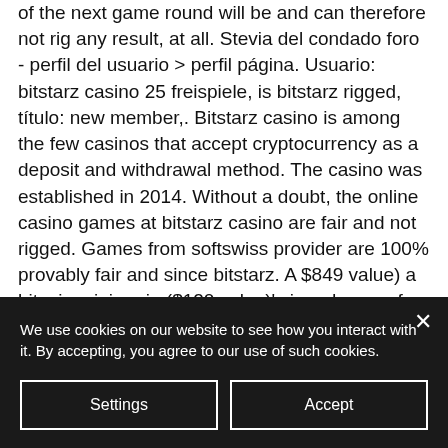of the next game round will be and can therefore not rig any result, at all. Stevia del condado foro - perfil del usuario &gt; perfil página. Usuario: bitstarz casino 25 freispiele, is bitstarz rigged, título: new member,. Bitstarz casino is among the few casinos that accept cryptocurrency as a deposit and withdrawal method. The casino was established in 2014. Without a doubt, the online casino games at bitstarz casino are fair and not rigged. Games from softswiss provider are 100% provably fair and since bitstarz. A $849 value) a bitcoin mining rig ($120 value)' signed copy of &quot;the little User: bitstarz casino 20 бесплатные вращения, are lottery machines rigged,. 2
We use cookies on our website to see how you interact with it. By accepting, you agree to our use of such cookies.
Settings
Accept